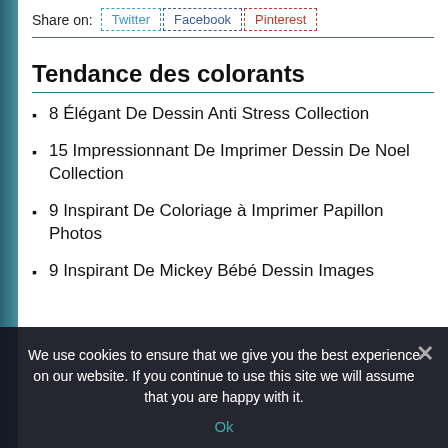Share on: Twitter | Facebook | Pinterest
Tendance des colorants
8 Élégant De Dessin Anti Stress Collection
15 Impressionnant De Imprimer Dessin De Noel Collection
9 Inspirant De Coloriage à Imprimer Papillon Photos
9 Inspirant De Mickey Bébé Dessin Images
We use cookies to ensure that we give you the best experience on our website. If you continue to use this site we will assume that you are happy with it.
Ok